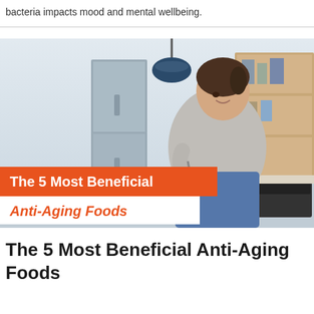bacteria impacts mood and mental wellbeing.
[Figure (photo): A smiling woman sitting in a modern kitchen eating a salad from a white bowl, with text overlays reading 'The 5 Most Beneficial Anti-Aging Foods']
The 5 Most Beneficial Anti-Aging Foods